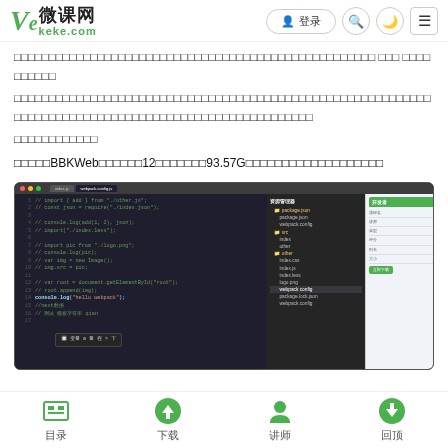Ve微课网 keke.com — 登录 (search, theme, menu icons)
（Chinese text describing course content）
（Chinese text — full description paragraph）
（Chinese text — short line）
精品课BBKWeb系列课程第12期，共93.57G，（Chinese description of course）
[Figure (screenshot): Screenshot of VS Code editor with webpack JavaScript code on dark theme, alongside a file tree panel and a browser/app panel on the right showing green header interface.]
目录  下载  讲师  回顶